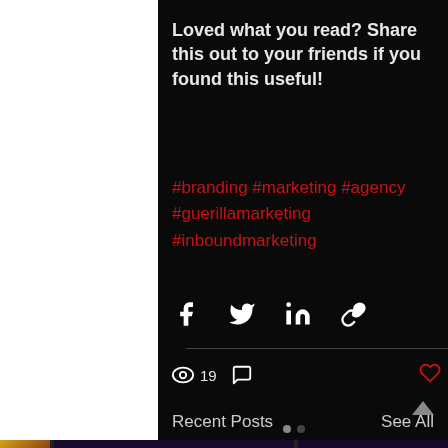Loved what you read? Share this out to your friends if you found this useful!
#branding #marketing #agency #guerillamarketing #inboundmarketing
[Figure (other): Social share icons: Facebook, Twitter, LinkedIn, link/copy]
19 views, comment icon, heart/like icon
Recent Posts
See All
[Figure (screenshot): Thumbnail strip of recent post images at bottom of page]